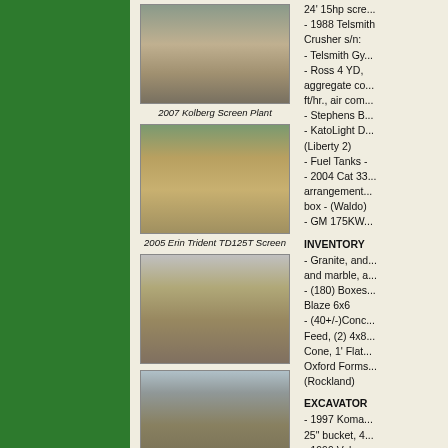[Figure (photo): 2007 Kolberg Screen Plant equipment photo]
2007 Kolberg Screen Plant
[Figure (photo): 2005 Erin Trident TD125T Screen equipment photo]
2005 Erin Trident TD125T Screen
[Figure (photo): Conveyor belt equipment photo]
[Figure (photo): Conveyor belt equipment photo]
24' 15hp scr... - 1988 Telsmith Crusher s/n: - Telsmith Gy... - Ross 4 YD, aggregate co... ft/hr., air com... - Stephens B... - KatoLight D... (Liberty 2) - Fuel Tanks - - 2004 Cat 33... arrangement... box - (Waldo) - GM 175KW...
INVENTORY
- Granite, and... and marble, a... - (180) Boxes... Blaze 6x6 - (40+/-)Conc... Feed, (2) 4x8... Cone, 1' Flat... Oxford Forms... (Rockland)
EXCAVATOR
- 1997 Koma... 25" bucket, 4... - 1999 Volvo... plumbed 3rd... digging buck... - NPK 12X H...